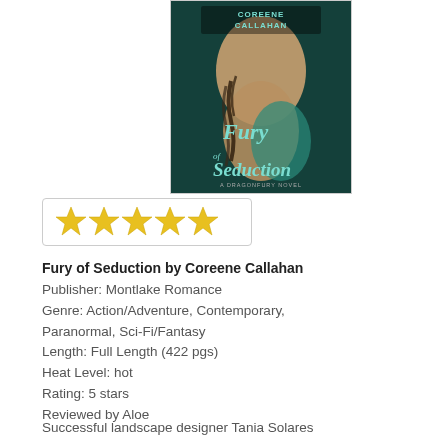[Figure (photo): Book cover of 'Fury of Seduction' by Coreene Callahan, showing a muscular figure with tattoos against a teal/dark background, subtitled 'A Dragonfury Novel']
[Figure (other): Five gold/yellow star rating icons inside a bordered box]
Fury of Seduction by Coreene Callahan
Publisher: Montlake Romance
Genre: Action/Adventure, Contemporary, Paranormal, Sci-Fi/Fantasy
Length: Full Length (422 pgs)
Heat Level: hot
Rating: 5 stars
Reviewed by Aloe
Successful landscape designer Tania Solares